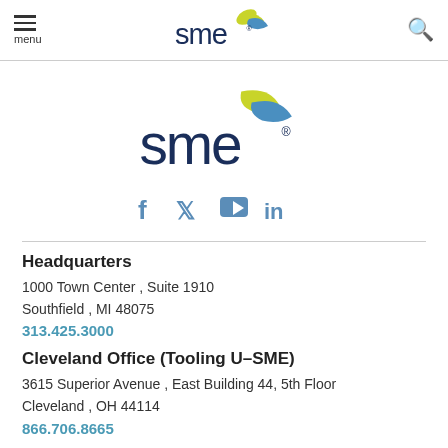menu | SME logo | search
[Figure (logo): SME logo with green and blue swoosh marks above the text 'sme' in dark navy, with registered trademark symbol]
[Figure (infographic): Social media icons: Facebook (f), Twitter (bird), YouTube (play button), LinkedIn (in) — all in steel blue color]
Headquarters
1000 Town Center , Suite 1910
Southfield , MI 48075
313.425.3000
Cleveland Office (Tooling U-SME)
3615 Superior Avenue , East Building 44, 5th Floor
Cleveland , OH 44114
866.706.8665